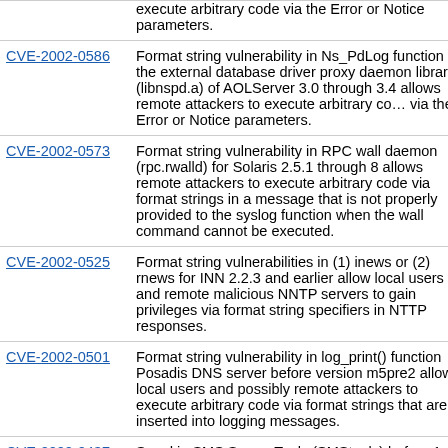| CVE ID | Description |
| --- | --- |
|  | execute arbitrary code via the Error or Notice parameters. |
| CVE-2002-0586 | Format string vulnerability in Ns_PdLog function for the external database driver proxy daemon library (libnspd.a) of AOLServer 3.0 through 3.4 allows remote attackers to execute arbitrary code via the Error or Notice parameters. |
| CVE-2002-0573 | Format string vulnerability in RPC wall daemon (rpc.rwalld) for Solaris 2.5.1 through 8 allows remote attackers to execute arbitrary code via format strings in a message that is not properly provided to the syslog function when the wall command cannot be executed. |
| CVE-2002-0525 | Format string vulnerabilities in (1) inews or (2) rnews for INN 2.2.3 and earlier allow local users and remote malicious NNTP servers to gain privileges via format string specifiers in NTTP responses. |
| CVE-2002-0501 | Format string vulnerability in log_print() function Posadis DNS server before version m5pre2 allows local users and possibly remote attackers to execute arbitrary code via format strings that are inserted into logging messages. |
| CVE-2002-0437 | Smsd in SMS Server Tools (SMStools) before 1.4.8 allows remote attackers to execute arbitrary commands via shell metacharacters (backquot |